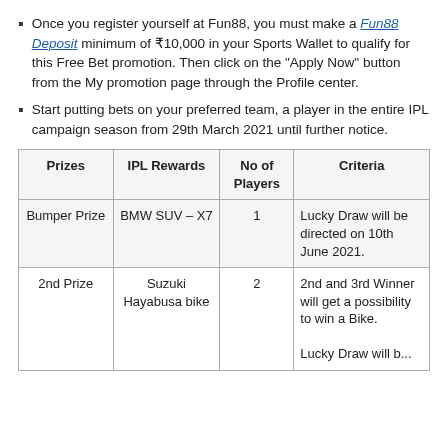Once you register yourself at Fun88, you must make a Fun88 Deposit minimum of ₹10,000 in your Sports Wallet to qualify for this Free Bet promotion. Then click on the "Apply Now" button from the My promotion page through the Profile center.
Start putting bets on your preferred team, a player in the entire IPL campaign season from 29th March 2021 until further notice.
| Prizes | IPL Rewards | No of Players | Criteria |
| --- | --- | --- | --- |
| Bumper Prize | BMW SUV – X7 | 1 | Lucky Draw will be directed on 10th June 2021. |
| 2nd Prize | Suzuki Hayabusa bike | 2 | 2nd and 3rd Winner will get a possibility to win a Bike.
Lucky Draw will b... |